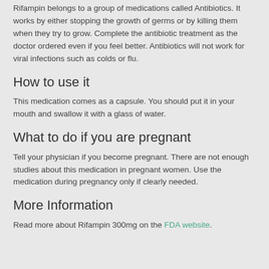Rifampin belongs to a group of medications called Antibiotics. It works by either stopping the growth of germs or by killing them when they try to grow. Complete the antibiotic treatment as the doctor ordered even if you feel better. Antibiotics will not work for viral infections such as colds or flu.
How to use it
This medication comes as a capsule. You should put it in your mouth and swallow it with a glass of water.
What to do if you are pregnant
Tell your physician if you become pregnant. There are not enough studies about this medication in pregnant women. Use the medication during pregnancy only if clearly needed.
More Information
Read more about Rifampin 300mg on the FDA website.